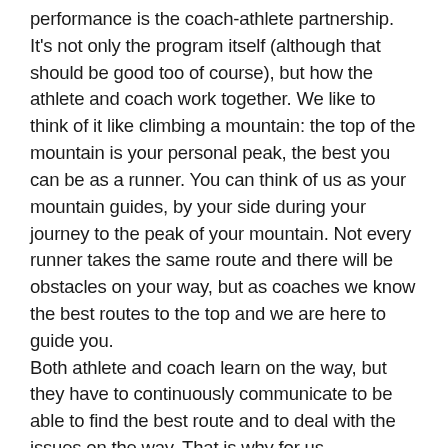performance is the coach-athlete partnership. It's not only the program itself (although that should be good too of course), but how the athlete and coach work together. We like to think of it like climbing a mountain: the top of the mountain is your personal peak, the best you can be as a runner. You can think of us as your mountain guides, by your side during your journey to the peak of your mountain. Not every runner takes the same route and there will be obstacles on your way, but as coaches we know the best routes to the top and we are here to guide you.
Both athlete and coach learn on the way, but they have to continuously communicate to be able to find the best route and to deal with the issues on the way. That is why for us, communication is the key to